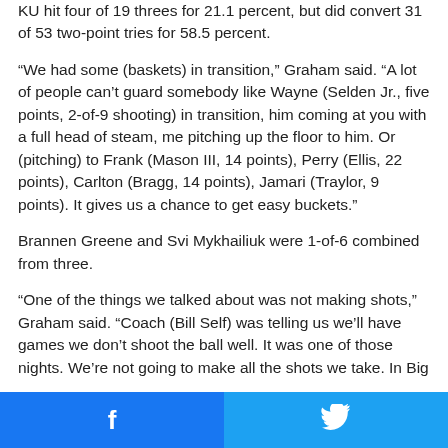KU hit four of 19 threes for 21.1 percent, but did convert 31 of 53 two-point tries for 58.5 percent.
“We had some (baskets) in transition,” Graham said. “A lot of people can’t guard somebody like Wayne (Selden Jr., five points, 2-of-9 shooting) in transition, him coming at you with a full head of steam, me pitching up the floor to him. Or (pitching) to Frank (Mason III, 14 points), Perry (Ellis, 22 points), Carlton (Bragg, 14 points), Jamari (Traylor, 9 points). It gives us a chance to get easy buckets.”
Brannen Greene and Svi Mykhailiuk were 1-of-6 combined from three.
“One of the things we talked about was not making shots,” Graham said. “Coach (Bill Self) was telling us we’ll have games we don’t shoot the ball well. It was one of those nights. We’re not going to make all the shots we take. In Big